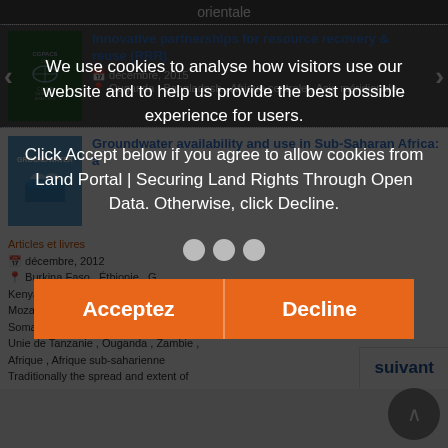orientale
[Figure (screenshot): Cookie consent overlay on Land Portal website with dark background, showing cookie notice text, Accept and Decline buttons, and partially visible article cards behind.]
Innovative partnerships for resource recovery & reuse (RRR)
décembre, 2015
Ouganda, Bangladesh, Afrique centrale, Asie méridionale
Groundwater availability and use in Sub-Saharan Africa: a
Articles et livres
décembre, 2012
Burkina Faso, Éthiopie, Ghana, Kenya, Malawi, Mali, Zimbabwe, Mozambique, Niger, Nigéria, Somalie, Afrique du Sud, République-Unie de Tanzanie, Ouganda, Zambie, Afrique, Afrique sub-saharienne
Traditionally the spread and extent of
suivant